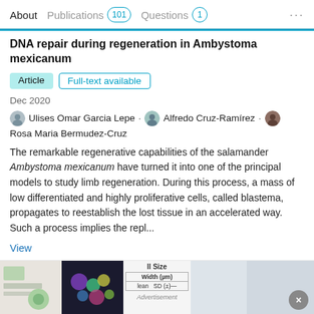About  Publications 101  Questions 1  ...
DNA repair during regeneration in Ambystoma mexicanum
Article  Full-text available
Dec 2020
Ulises Omar Garcia Lepe · Alfredo Cruz-Ramírez · Rosa Maria Bermudez-Cruz
The remarkable regenerative capabilities of the salamander Ambystoma mexicanum have turned it into one of the principal models to study limb regeneration. During this process, a mass of low differentiated and highly proliferative cells, called blastema, propagates to reestablish the lost tissue in an accelerated way. Such a process implies the repl...
View
[Figure (screenshot): Thumbnail images of article figures at the bottom of the card]
Advertisement  Lidl  Ashburn  OPEN 8AM–9PM